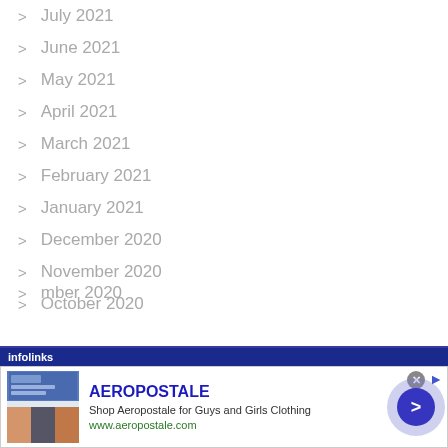July 2021
June 2021
May 2021
April 2021
March 2021
February 2021
January 2021
December 2020
November 2020
October 2020
…mber 2020
[Figure (screenshot): Infolinks advertisement banner for Aeropostale showing brand name, description 'Shop Aeropostale for Guys and Girls Clothing', URL www.aeropostale.com, clothing thumbnails, close button, and navigation arrow.]